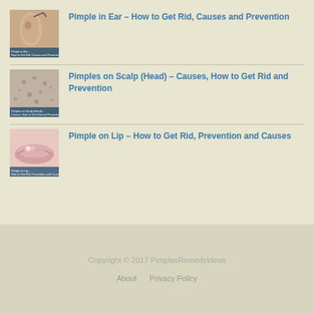[Figure (photo): Thumbnail image of a pimple in ear]
Pimple in Ear – How to Get Rid, Causes and Prevention
[Figure (photo): Thumbnail image of pimples on scalp/head]
Pimples on Scalp (Head) – Causes, How to Get Rid and Prevention
[Figure (photo): Thumbnail image of a pimple on lip]
Pimple on Lip – How to Get Rid, Prevention and Causes
Copyright © 2017 PimplesRemedyIdeas
About    Privacy Policy